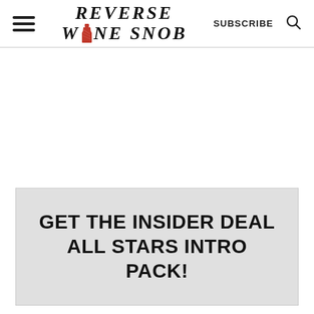[Figure (logo): Reverse Wine Snob logo with hamburger menu, subscribe button, and search icon in site header]
[Figure (other): Advertisement/empty white space area below header]
GET THE INSIDER DEAL ALL STARS INTRO PACK!